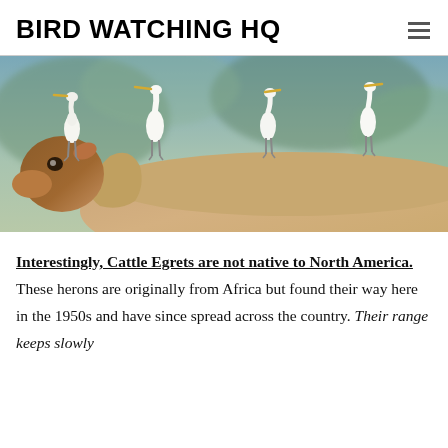BIRD WATCHING HQ
[Figure (photo): Four white Cattle Egret birds perched on the back of a brown cow, photographed from the side against a blurred green and blue background.]
Interestingly, Cattle Egrets are not native to North America. These herons are originally from Africa but found their way here in the 1950s and have since spread across the country. Their range keeps slowly